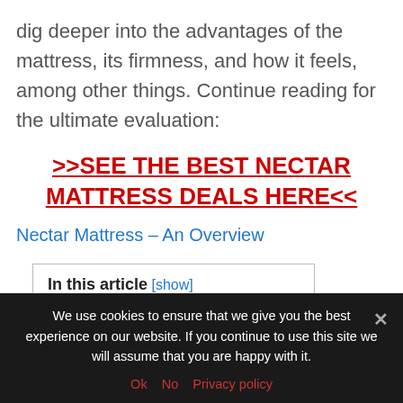dig deeper into the advantages of the mattress, its firmness, and how it feels, among other things. Continue reading for the ultimate evaluation:
>>SEE THE BEST NECTAR MATTRESS DEALS HERE<<
Nectar Mattress – An Overview
In this article [show]
We use cookies to ensure that we give you the best experience on our website. If you continue to use this site we will assume that you are happy with it. Ok  No  Privacy policy